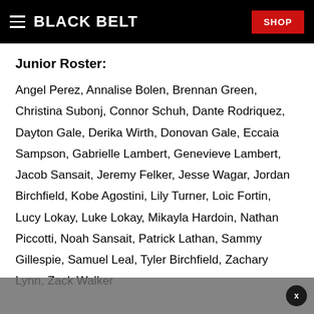BLACK BELT | SHOP
Junior Roster:
Angel Perez, Annalise Bolen, Brennan Green, Christina Subonj, Connor Schuh, Dante Rodriquez, Dayton Gale, Derika Wirth, Donovan Gale, Eccaia Sampson, Gabrielle Lambert, Genevieve Lambert, Jacob Sansait, Jeremy Felker, Jesse Wagar, Jordan Birchfield, Kobe Agostini, Lily Turner, Loic Fortin, Lucy Lokay, Luke Lokay, Mikayla Hardoin, Nathan Piccotti, Noah Sansait, Patrick Lathan, Sammy Gillespie, Samuel Leal, Tyler Birchfield, Zachary Lynn, Zack Walker